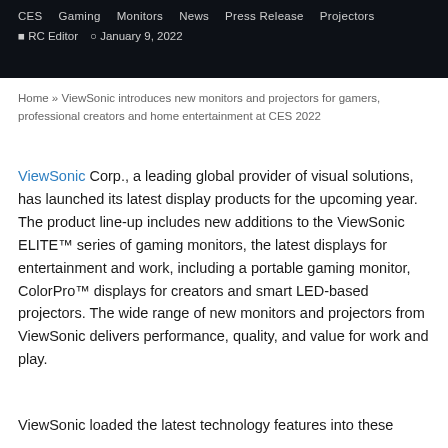[Figure (screenshot): Dark navigation bar with category links: CES, Gaming, Monitors, News, Press Release, Projectors. Below: RC Editor and January 9, 2022 metadata on dark background.]
Home » ViewSonic introduces new monitors and projectors for gamers, professional creators and home entertainment at CES 2022
ViewSonic Corp., a leading global provider of visual solutions, has launched its latest display products for the upcoming year. The product line-up includes new additions to the ViewSonic ELITE™ series of gaming monitors, the latest displays for entertainment and work, including a portable gaming monitor, ColorPro™ displays for creators and smart LED-based projectors. The wide range of new monitors and projectors from ViewSonic delivers performance, quality, and value for work and play.
ViewSonic loaded the latest technology features into these